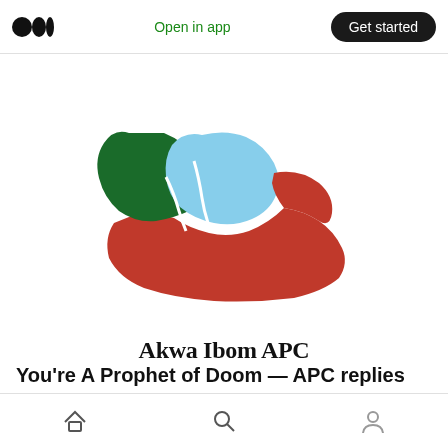Open in app | Get started
[Figure (logo): Akwa Ibom APC map logo showing Nigerian state divided into green, light blue, and red sections with white borders, labeled 'Akwa Ibom APC']
You’re A Prophet of Doom — APC replies Franklyn Isong
Home | Search | Profile